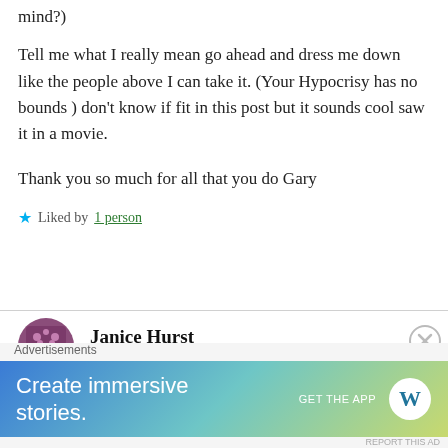mind?)
Tell me what I really mean go ahead and dress me down like the people above I can take it. (Your Hypocrisy has no bounds ) don’t know if fit in this post but it sounds cool saw it in a movie.
Thank you so much for all that you do Gary
★ Liked by 1 person
Janice Hurst
August 10, 2018 at 7:59 pm
Thank you for saying all of this. No GA is going
[Figure (infographic): WordPress advertisement banner: 'Create immersive stories. GET THE APP' with WordPress logo on a blue-green-yellow gradient background.]